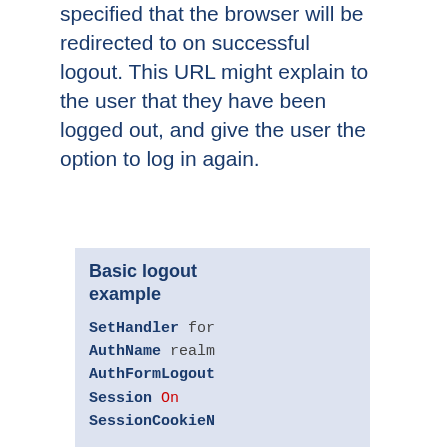specified that the browser will be redirected to on successful logout. This URL might explain to the user that they have been logged out, and give the user the option to log in again.
[Figure (other): Code box titled 'Basic logout example' showing Apache config directives: SetHandler, AuthName, AuthFormLogout, Session, SessionCookieName]
Note that logging a user out does not delete the session; it merely removes the username and password from the session. If this results in an empty session, the net effect will be the removal of that session, but this is